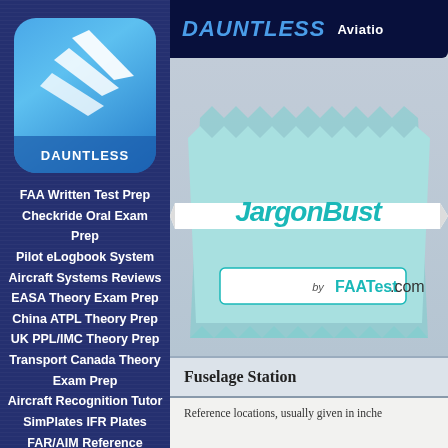[Figure (logo): Dauntless Aviation logo: blue rounded rectangle with white swooping bird/wing shapes and DAUNTLESS text below]
FAA Written Test Prep
Checkride Oral Exam Prep
Pilot eLogbook System
Aircraft Systems Reviews
EASA Theory Exam Prep
China ATPL Theory Prep
UK PPL/IMC Theory Prep
Transport Canada Theory Exam Prep
Aircraft Recognition Tutor
SimPlates IFR Plates
FAR/AIM Reference
All Software and Apps
Aviation Freebies
DAUNTLESS  Aviation
[Figure (logo): JargonBuster logo by FAATest.com: teal/light blue stacked book pages with zigzag edges, ribbon banner reading JargonBuster, and lower banner reading by FAATest.com]
Fuselage Station
Reference locations, usually given in inche...